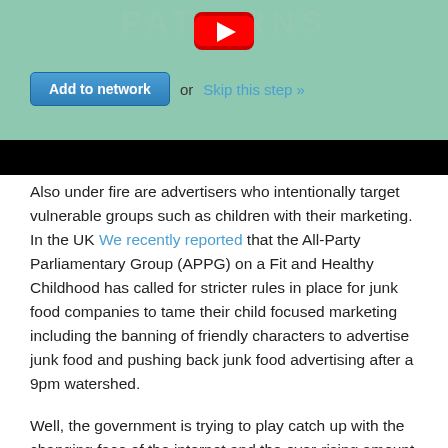[Figure (screenshot): Screenshot showing a YouTube video thumbnail with green background and text 'PATTERNS', with an 'Add to network' button and 'or Skip this step »' link below, followed by a black bar]
Also under fire are advertisers who intentionally target vulnerable groups such as children with their marketing. In the UK We recently reported that the All-Party Parliamentary Group (APPG) on a Fit and Healthy Childhood has called for stricter rules in place for junk food companies to tame their child focused marketing including the banning of friendly characters to advertise junk food and pushing back junk food advertising after a 9pm watershed.
Well, the government is trying to play catch up with the changing face of the internet and the ever-rising amount children are being